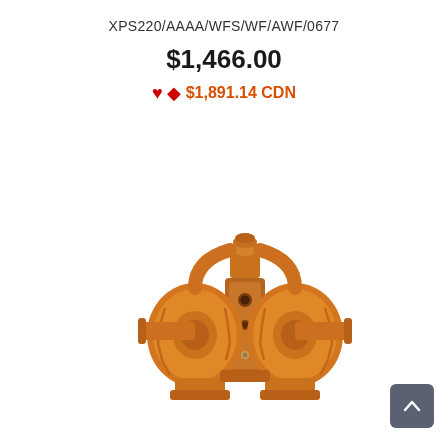XPS220/AAAA/WFS/WF/AWF/0677
$1,466.00
$1,891.14 CDN
[Figure (photo): Photograph of an orange/copper-colored double diaphragm pump (XPS220) viewed from the front, showing symmetric circular diaphragm housings on left and right, connecting manifold bar in center, inlet/outlet ports at top, and mounting flanges at bottom.]